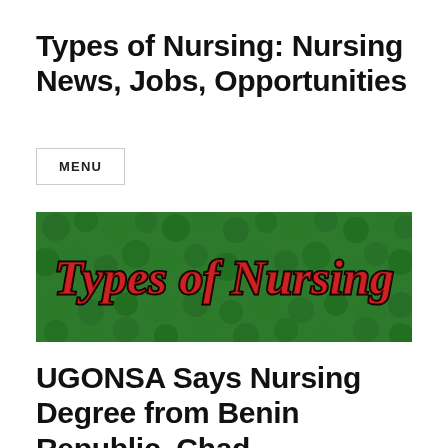Types of Nursing: Nursing News, Jobs, Opportunities
MENU
[Figure (logo): Types of Nursing website banner logo with decorative gothic text 'Types of Nursing' on a green leafy background]
UGONSA Says Nursing Degree from Benin Republic, Chad, Cameroon And Niger